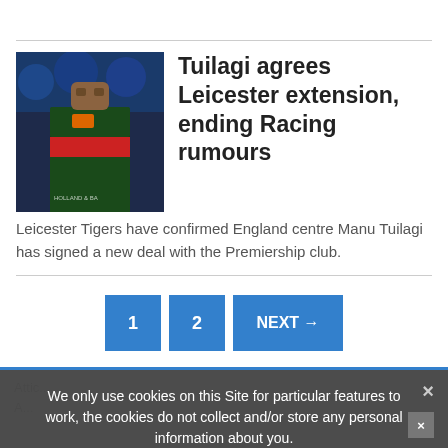Tuilagi agrees Leicester extension, ending Racing rumours
[Figure (photo): Photo of Manu Tuilagi in Leicester Tigers rugby kit]
Leicester Tigers have confirmed England centre Manu Tuilagi has signed a new deal with the Premiership club.
1  2  NEXT →
We only use cookies on this Site for particular features to work, the cookies do not collect and/or store any personal information about you.